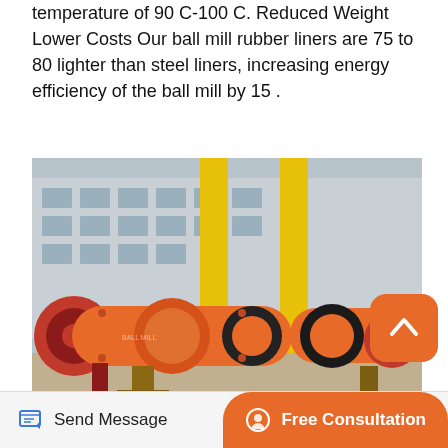temperature of 90 C-100 C. Reduced Weight Lower Costs Our ball mill rubber liners are 75 to 80 lighter than steel liners, increasing energy efficiency of the ball mill by 15 .
[Figure (photo): Industrial ball mill equipment — two large orange cylindrical grinding mills mounted on supports in an outdoor industrial yard, with yellow gantry crane in the background and a grey factory building.]
The ball mill is an indispensable equipment in
Send Message   Free Consultation